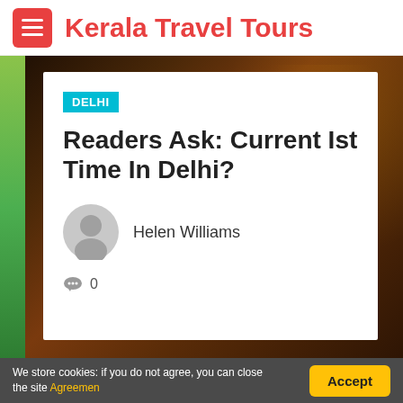Kerala Travel Tours
[Figure (photo): Background image of a decorative Indian figure/deity with ornate jewelry, partially visible behind a white card. Green strip on left edge.]
DELHI
Readers Ask: Current Ist Time In Delhi?
Helen Williams
0
We store cookies: if you do not agree, you can close the site Agreemen